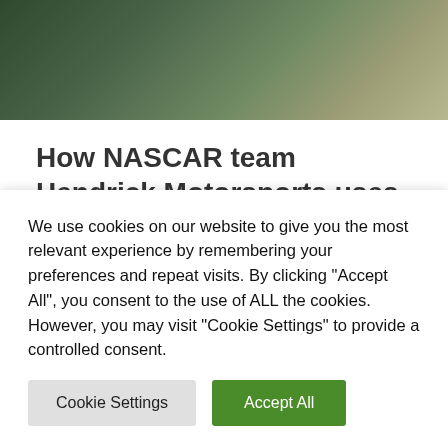[Figure (photo): A blurred photograph of a NASCAR pit or garage environment, showing racing equipment and green/beige tones.]
How NASCAR team Hendrick Motorsports uses Microsoft Teams to win races
#Microsoft Teams provides a single system for all communication so you don't miss any important
We use cookies on our website to give you the most relevant experience by remembering your preferences and repeat visits. By clicking "Accept All", you consent to the use of ALL the cookies. However, you may visit "Cookie Settings" to provide a controlled consent.
Cookie Settings | Accept All